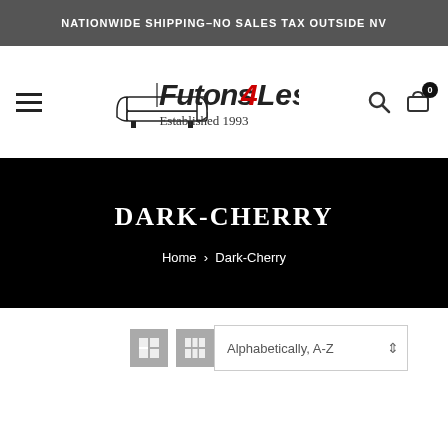NATIONWIDE SHIPPING–NO SALES TAX OUTSIDE NV
[Figure (logo): Futons 4 Less logo with futon icon, red '4', italic stylized text, and 'Established 1993' below]
DARK-CHERRY
Home › Dark-Cherry
Alphabetically, A-Z (sort dropdown)